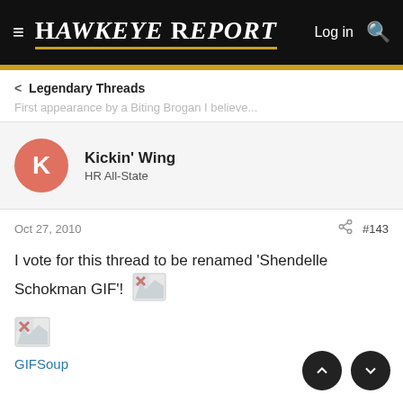Hawkeye Report — Log in, search
< Legendary Threads
First appearance by a Biting Brogan I believe...
Kickin' Wing
HR All-State
Oct 27, 2010  #143
I vote for this thread to be renamed 'Shendelle Schokman GIF'!
[Figure (illustration): Broken image icon with red X, appearing inline in post text]
[Figure (illustration): Broken image icon with red X, appearing standalone]
GIFSoup